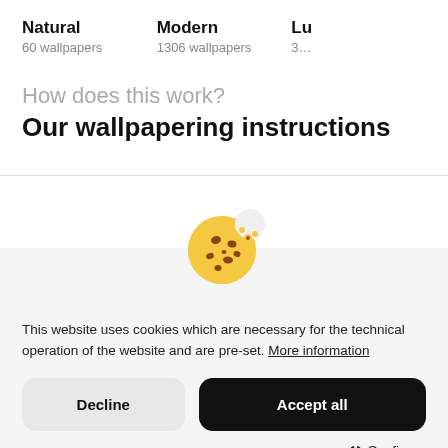Natural
60 wallpapers
Modern
1306 wallpapers
How does this work?
Our wallpapering instructions
[Figure (illustration): Cookie emoji illustration — a round chocolate chip cookie with a bite taken out, chips scattered]
This website uses cookies which are necessary for the technical operation of the website and are pre-set. More information
Decline
Accept all
⚒ Configure